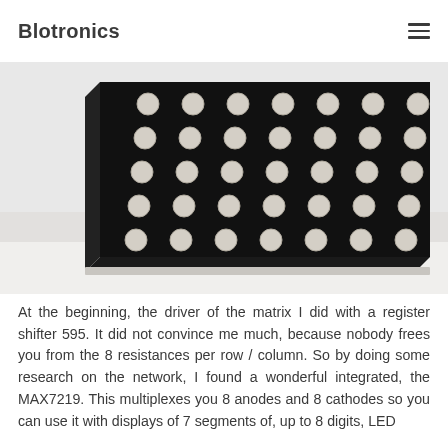Blotronics
[Figure (photo): An LED dot matrix module photographed from a slight angle, showing a black PCB with rows and columns of white/cream colored LED bulbs arranged in an 8x8 grid pattern.]
At the beginning, the driver of the matrix I did with a register shifter 595. It did not convince me much, because nobody frees you from the 8 resistances per row / column. So by doing some research on the network, I found a wonderful integrated, the MAX7219. This multiplexes you 8 anodes and 8 cathodes so you can use it with displays of 7 segments of, up to 8 digits, LED